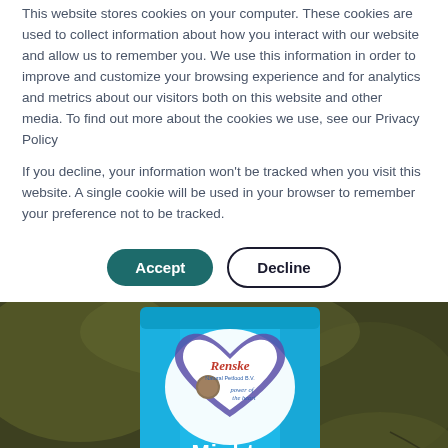This website stores cookies on your computer. These cookies are used to collect information about how you interact with our website and allow us to remember you. We use this information in order to improve and customize your browsing experience and for analytics and metrics about our visitors both on this website and other media. To find out more about the cookies we use, see our Privacy Policy
If you decline, your information won't be tracked when you visit this website. A single cookie will be used in your browser to remember your preference not to be tracked.
[Figure (photo): A blue pet food bag with the Renske Natural Petfood B.V. brand logo (heart shape with a dog image and text 'power of the heart'), product name 'Mighty' visible at the bottom, photographed against a blurred dark green background.]